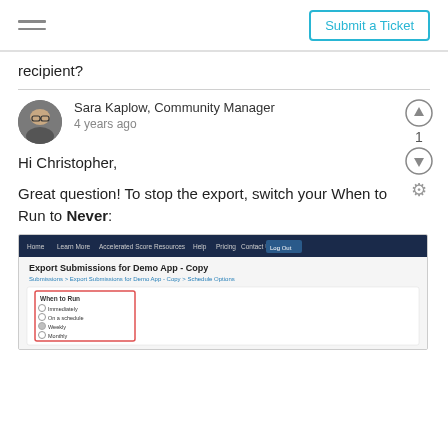Submit a Ticket
recipient?
Sara Kaplow, Community Manager
4 years ago
Hi Christopher,

Great question! To stop the export, switch your When to Run to Never:
[Figure (screenshot): Screenshot of Export Submissions for Demo App - Copy page showing a 'When to Run' panel with radio button options including Immediately, On a schedule, Weekly (selected), Monthly, and Yearly, with a red border highlighting the options.]